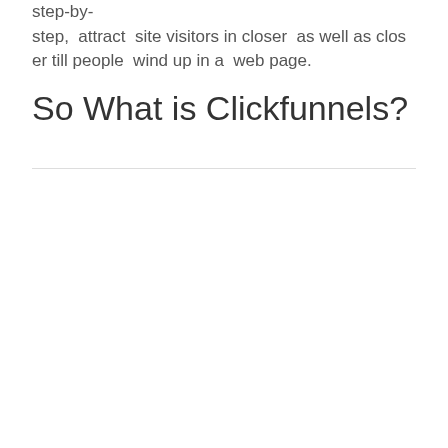step-by-step, attract site visitors in closer as well as closer till people wind up in a web page.
So What is Clickfunnels?